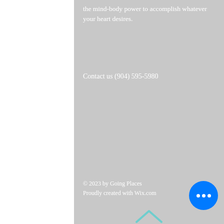the mind-body power to accomplish whatever your heart desires.
Contact us (904) 595-5980
© 2023 by Going Places
Proudly created with Wix.com
[Figure (other): Teal/cyan upward-pointing chevron arrow at the bottom center of the gray panel]
[Figure (other): Bright blue circular chat button with three white dots (ellipsis) in the lower right corner]